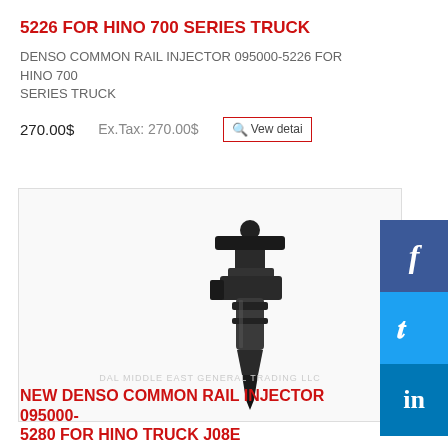5226 FOR HINO 700 SERIES TRUCK
DENSO COMMON RAIL INJECTOR 095000-5226 FOR HINO 700 SERIES TRUCK
270.00$   Ex.Tax: 270.00$
[Figure (photo): Photo of a Denso common rail fuel injector for Hino 700 series truck, black metal part, with watermark text DAL MIDDLE EAST GENERAL TRADING LLC]
NEW DENSO COMMON RAIL INJECTOR 095000-5280 FOR HINO TRUCK J08E